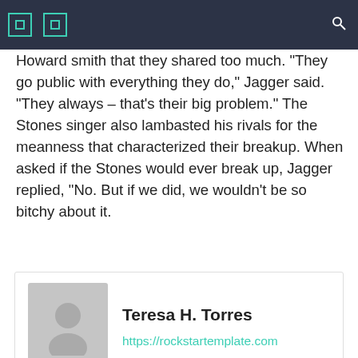Howard smith that they shared too much. “They go public with everything they do,” Jagger said. “They always – that’s their big problem.” The Stones singer also lambasted his rivals for the meanness that characterized their breakup. When asked if the Stones would ever break up, Jagger replied, “No. But if we did, we wouldn’t be so bitchy about it.
Teresa H. Torres
https://rockstartemplate.com
Related Articles
[Figure (photo): Blurred interior photo at bottom of page]